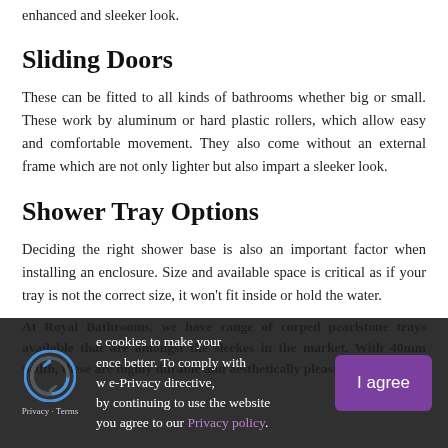enhanced and sleeker look.
Sliding Doors
These can be fitted to all kinds of bathrooms whether big or small. These work by aluminum or hard plastic rollers, which allow easy and comfortable movement. They also come without an external frame which are not only lighter but also impart a sleeker look.
Shower Tray Options
Deciding the right shower base is also an important factor when installing an enclosure. Size and available space is critical as if your tray is not the correct size, it won't fit inside or hold the water.
At Royal Bathrooms, we have range of corped pearlstone trays available that are amongst the sleekes in the market. With 40mm width, these are highly durable and aesthetically pleasing at the same
e cookies to make your ence better. To comply with w e-Privacy directive, by continuing to use the website you agree to our Privacy policy.